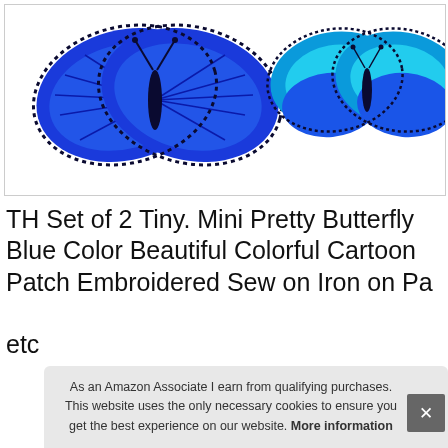[Figure (photo): Two blue embroidered butterfly patches on white background. One large butterfly on the left with deep blue wings, one slightly smaller butterfly on the right with lighter blue and cyan wings. Both have black outlines with white dotted edges.]
TH Set of 2 Tiny. Mini Pretty Butterfly Blue Color Beautiful Colorful Cartoon Patch Embroidered Sew on Iron on Pa... etc...
As an Amazon Associate I earn from qualifying purchases. This website uses the only necessary cookies to ensure you get the best experience on our website. More information